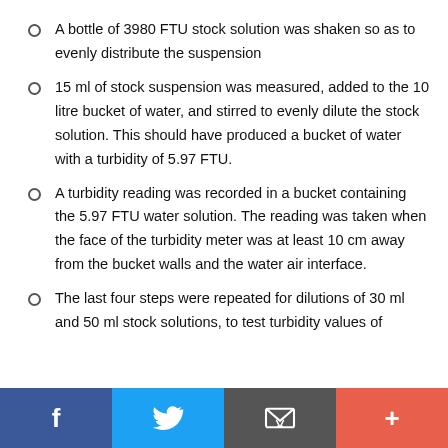A bottle of 3980 FTU stock solution was shaken so as to evenly distribute the suspension
15 ml of stock suspension was measured, added to the 10 litre bucket of water, and stirred to evenly dilute the stock solution. This should have produced a bucket of water with a turbidity of 5.97 FTU.
A turbidity reading was recorded in a bucket containing the 5.97 FTU water solution. The reading was taken when the face of the turbidity meter was at least 10 cm away from the bucket walls and the water air interface.
The last four steps were repeated for dilutions of 30 ml and 50 ml stock solutions, to test turbidity values of
Social share bar: Facebook, Twitter, Email, Plus